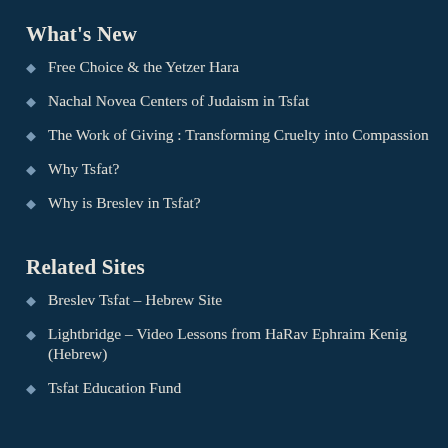What's New
Free Choice & the Yetzer Hara
Nachal Novea Centers of Judaism in Tsfat
The Work of Giving : Transforming Cruelty into Compassion
Why Tsfat?
Why is Breslev in Tsfat?
Related Sites
Breslev Tsfat – Hebrew Site
Lightbridge – Video Lessons from HaRav Ephraim Kenig (Hebrew)
Tsfat Education Fund